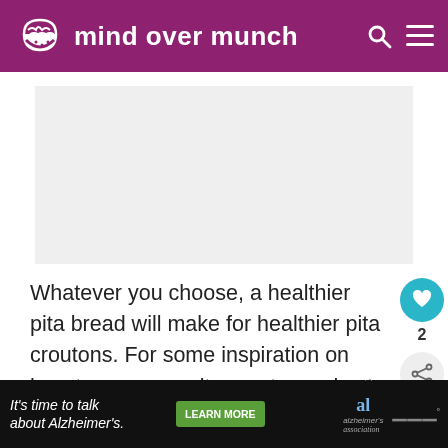mind over munch
[Figure (other): Gray placeholder image/advertisement box]
Whatever you choose, a healthier pita bread will make for healthier pita croutons. For some inspiration on how to use your pita croutons, check out my Mediterranean vegan hummus bowl!
It's time to talk about Alzheimer's. LEARN MORE